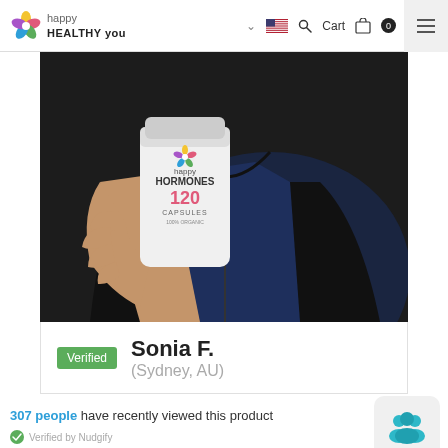happy HEALTHY you — Cart 0
[Figure (photo): Person holding a white bottle of 'happy HORMONES 120 Capsules' supplement product against a dark background, wearing a navy shirt and black hoodie with a cord necklace]
Verified  Sonia F.
(Sydney, AU)
307 people have recently viewed this product
Verified by Nudgify